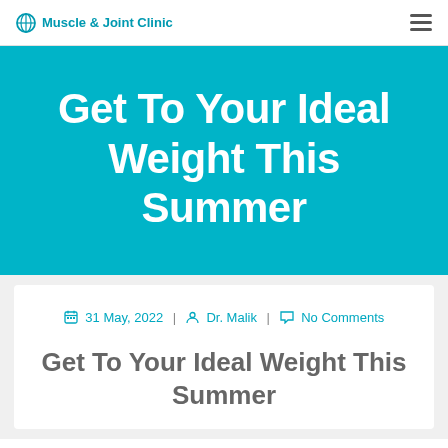Muscle & Joint Clinic
Get To Your Ideal Weight This Summer
31 May, 2022 | Dr. Malik | No Comments
Get To Your Ideal Weight This Summer